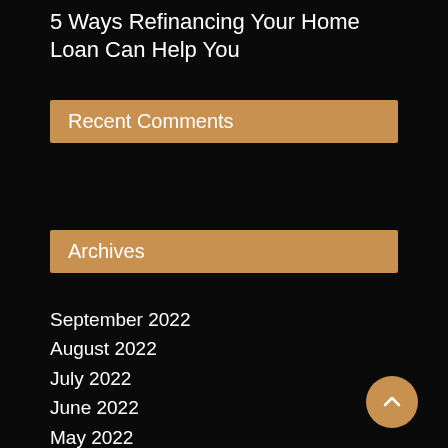5 Ways Refinancing Your Home Loan Can Help You
Recent Comments
Archives
September 2022
August 2022
July 2022
June 2022
May 2022
April 2022
March 2022